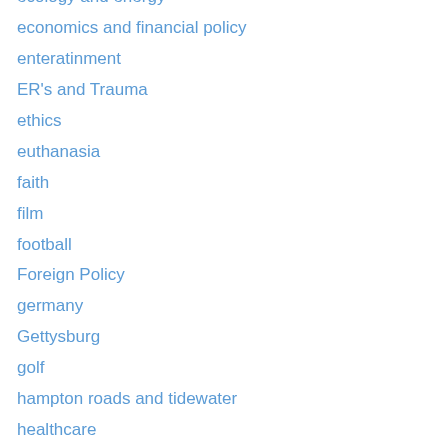ecology and energy
economics and financial policy
enteratinment
ER's and Trauma
ethics
euthanasia
faith
film
football
Foreign Policy
germany
Gettysburg
golf
hampton roads and tidewater
healthcare
historic preservation
History
history
holocaust
Immigration and immigrants